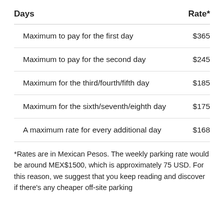| Days | Rate* |
| --- | --- |
| Maximum to pay for the first day | $365 |
| Maximum to pay for the second day | $245 |
| Maximum for the third/fourth/fifth day | $185 |
| Maximum for the sixth/seventh/eighth day | $175 |
| A maximum rate for every additional day | $168 |
*Rates are in Mexican Pesos. The weekly parking rate would be around MEX$1500, which is approximately 75 USD. For this reason, we suggest that you keep reading and discover if there's any cheaper off-site parking